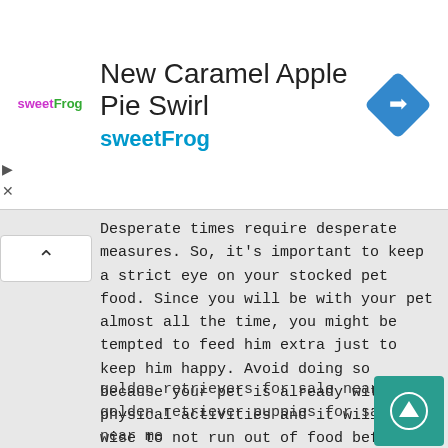[Figure (screenshot): sweetFrog advertisement banner showing 'New Caramel Apple Pie Swirl' with sweetFrog logo and a blue diamond navigation icon]
Desperate times require desperate measures. So, it's important to keep a strict eye on your stocked pet food. Since you will be with your pet almost all the time, you might be tempted to feed him extra just to keep him happy. Avoid doing so because your pet is already without physical activities and it will be wise to not run out of food before the lockdown is over.
golden retrievers for sale near me
golden retriever puppies for sale near me
best place to buy golden retriever puppies
golden retriever puppies for sale in pa
golden retriever puppies
golden retrievers for sale near me
golden retriever puppies for sale near me
best place to buy golden retriever puppies
golden retriever puppies for sale in pa